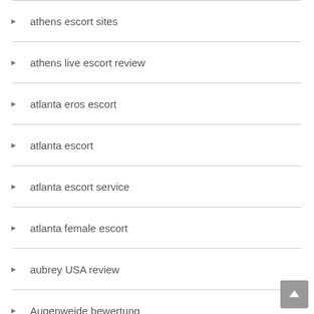athens escort sites
athens live escort review
atlanta eros escort
atlanta escort
atlanta escort service
atlanta female escort
aubrey USA review
Augenweide bewertung
augusta escort index